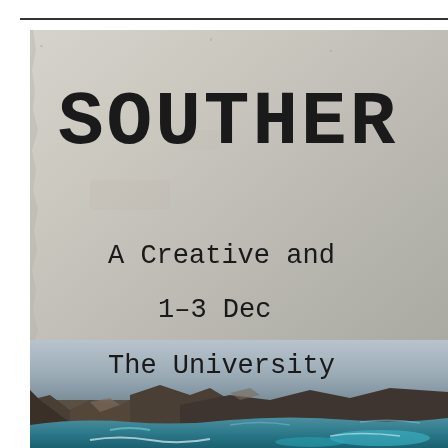[Figure (photo): Worn paper / book cover with coastal cliffs and turquoise ocean visible in lower portion. The word SOUTHERN (partially cropped) appears in large typewriter-style bold font. Below it: 'A Creative and', '1–3 Dec', 'The University' — all in monospace font, also partially cropped off the right edge.]
SOUTHER...
A Creative and
1–3 Dec
The University